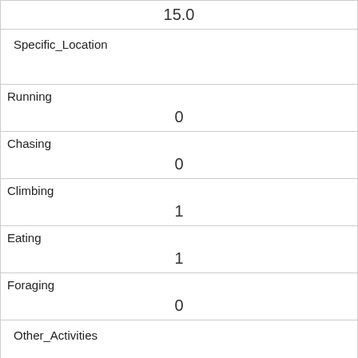| 15.0 |
| Specific_Location |  |
| Running | 0 |
| Chasing | 0 |
| Climbing | 1 |
| Eating | 1 |
| Foraging | 0 |
| Other_Activities |  |
| Kuks | 0 |
| Quaas | 0 |
| Moans |